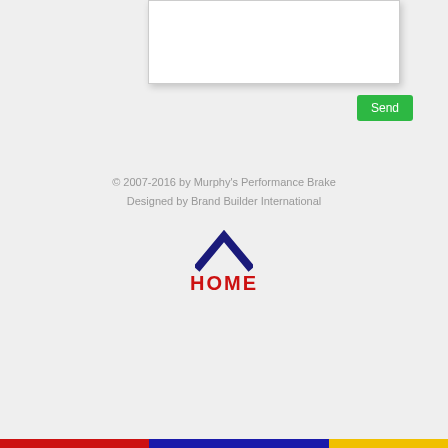[Figure (screenshot): White text input/form box at the top of the page]
Send
© 2007-2016 by Murphy's Performance Brake
Designed by Brand Builder International
[Figure (illustration): Dark blue chevron/up-arrow icon above HOME link]
HOME
[Figure (illustration): Bottom color bar with red, blue, and yellow stripes]